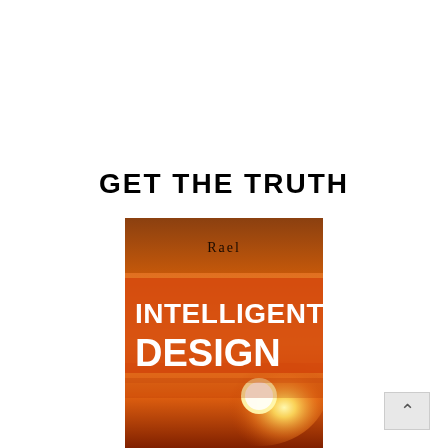GET THE TRUTH
[Figure (illustration): Book cover of 'Intelligent Design' by Rael, showing a sunset with warm orange and red tones, with the text 'INTELLIGENT DESIGN' in large white letters and 'Rael' at the top. At the bottom is a dark bar reading 'Message from']